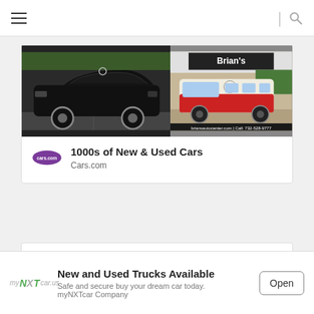≡  |  🔍
[Figure (photo): Ad card showing two car images: left shows a black Mercedes sedan in a parking lot, right shows a red and white vintage VW Bus at Brian's auto center with text 'briansautocenter.com | Call: 732-528-9777']
1000s of New & Used Cars
Cars.com
FEATURED POST
[Figure (other): Bottom advertisement banner: myNXTcar logo on left, title 'New and Used Trucks Available', subtext 'Safe and secure buy your dream car today. myNXTcar Company', Open button on right]